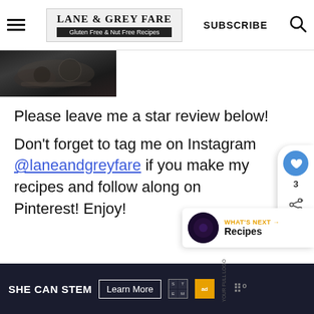LANE & GREY FARE | Gluten Free & Nut Free Recipes | SUBSCRIBE
[Figure (photo): Dark food photo showing cookware/baking dish from above, cropped at left edge]
Please leave me a star review below!
Don't forget to tag me on Instagram @laneandgreyfare if you make my recipes and follow along on Pinterest! Enjoy!
[Figure (other): Floating action buttons: heart/save (count 3) and share icon on right side]
[Figure (other): What's Next panel showing circular thumbnail and label 'WHAT'S NEXT → Recipes']
[Figure (other): Ad banner: SHE CAN STEM | Learn More | STEM logo | Ad Council logo | Nielsen logo]